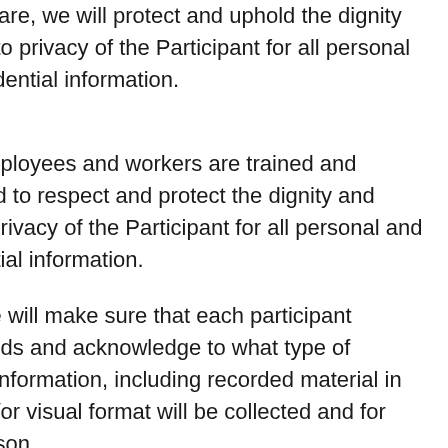t Care, we will protect and uphold the dignity and right to privacy of the Participant for all personal and confidential information.
employees and workers are trained and committed to respect and protect the dignity and privacy of the Participant for all personal and confidential information.
are will make sure that each participant understands and acknowledge to what type of personal information, including recorded material in audio and/or visual format will be collected and for what reason.